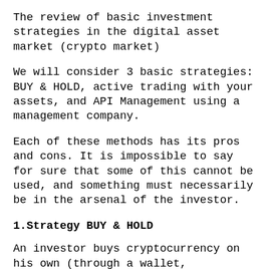The review of basic investment strategies in the digital asset market (crypto market)
We will consider 3 basic strategies: BUY & HOLD, active trading with your assets, and API Management using a management company.
Each of these methods has its pros and cons. It is impossible to say for sure that some of this cannot be used, and something must necessarily be in the arsenal of the investor.
1.Strategy BUY & HOLD
An investor buys cryptocurrency on his own (through a wallet, exchanger, OTC...